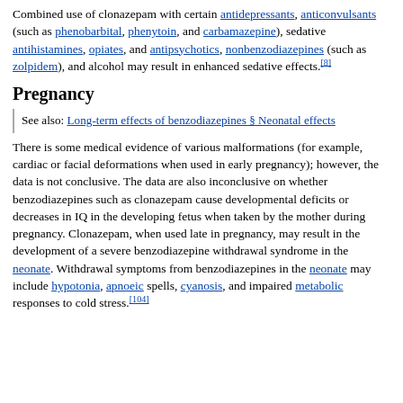Combined use of clonazepam with certain antidepressants, anticonvulsants (such as phenobarbital, phenytoin, and carbamazepine), sedative antihistamines, opiates, and antipsychotics, nonbenzodiazepines (such as zolpidem), and alcohol may result in enhanced sedative effects.[8]
Pregnancy
See also: Long-term effects of benzodiazepines § Neonatal effects
There is some medical evidence of various malformations (for example, cardiac or facial deformations when used in early pregnancy); however, the data is not conclusive. The data are also inconclusive on whether benzodiazepines such as clonazepam cause developmental deficits or decreases in IQ in the developing fetus when taken by the mother during pregnancy. Clonazepam, when used late in pregnancy, may result in the development of a severe benzodiazepine withdrawal syndrome in the neonate. Withdrawal symptoms from benzodiazepines in the neonate may include hypotonia, apnoeic spells, cyanosis, and impaired metabolic responses to cold stress.[104]